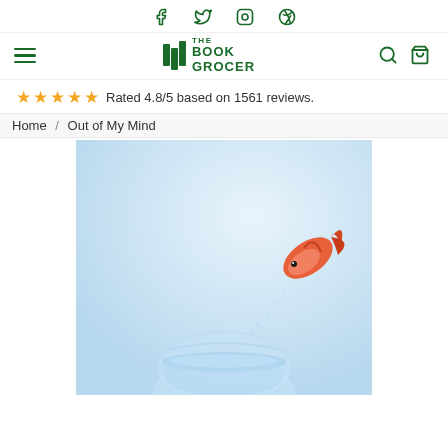Social icons: Facebook, Twitter, Instagram, Pinterest
[Figure (logo): The Book Grocer logo with green book icon and text]
Rated 4.8/5 based on 1561 reviews.
Home / Out of My Mind
[Figure (photo): Book cover for 'Out of My Mind' showing a goldfish leaping out of a glass fishbowl against a light blue background]